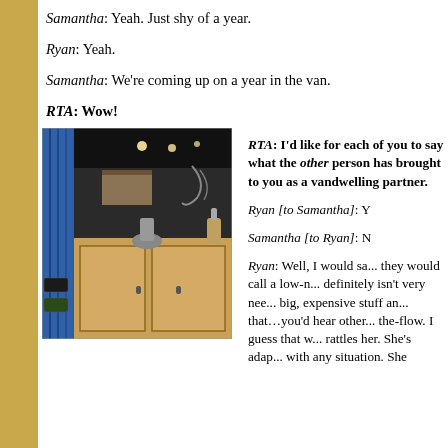Samantha: Yeah. Just shy of a year.
Ryan: Yeah.
Samantha: We're coming up on a year in the van.
RTA: Wow!
[Figure (photo): Interior of a van showing wooden cabinets, a blue curtain on the left, and a dark ceiling with lights. Various items on the counter.]
RTA: I'd like for each of you to say what the other person has brought to you as a vandwelling partner.
Ryan [to Samantha]: Y
Samantha [to Ryan]: N
Ryan: Well, I would say... they would call a low-m... definitely isn't very nee... big, expensive stuff an... that…you'd hear other... the-flow. I guess that w... rattles her. She's adap... with any situation. She